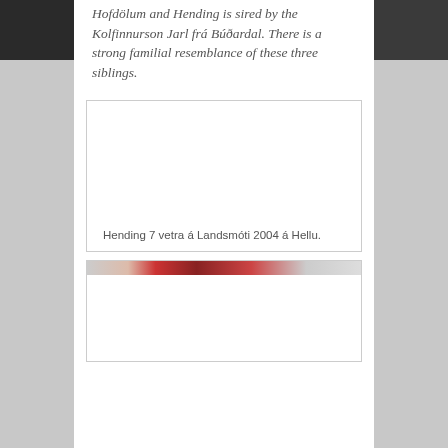Hofdölum and Hending is sired by the Kolfinnurson Jarl frá Búðardal. There is a strong familial resemblance of these three siblings.
[Figure (photo): Photo area (white/empty) for Hending at Landsmóti 2004]
Hending 7 vetra á Landsmóti 2004 á Hellu.
[Figure (photo): Partial photo visible at bottom, showing colorful equestrian scene]